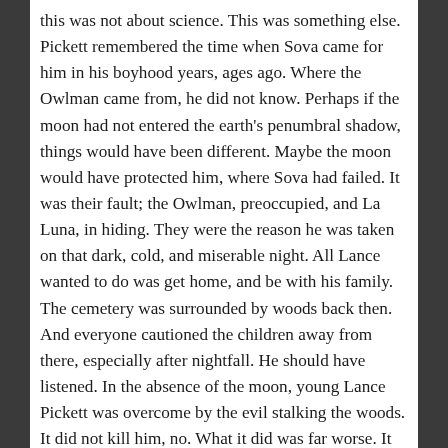this was not about science. This was something else. Pickett remembered the time when Sova came for him in his boyhood years, ages ago. Where the Owlman came from, he did not know. Perhaps if the moon had not entered the earth's penumbral shadow, things would have been different. Maybe the moon would have protected him, where Sova had failed. It was their fault; the Owlman, preoccupied, and La Luna, in hiding. They were the reason he was taken on that dark, cold, and miserable night. All Lance wanted to do was get home, and be with his family. The cemetery was surrounded by woods back then. And everyone cautioned the children away from there, especially after nightfall. He should have listened. In the absence of the moon, young Lance Pickett was overcome by the evil stalking the woods. It did not kill him, no. What it did was far worse. It consumed